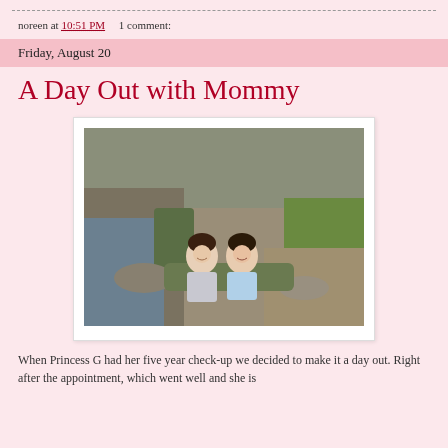noreen at 10:51 PM    1 comment:
Friday, August 20
A Day Out with Mommy
[Figure (photo): Two young girls sitting outdoors on mossy stone steps near a stream or creek, smiling at the camera. Surrounded by greenery and rocks.]
When Princess G had her five year check-up we decided to make it a day out. Right after the appointment, which went well and she is